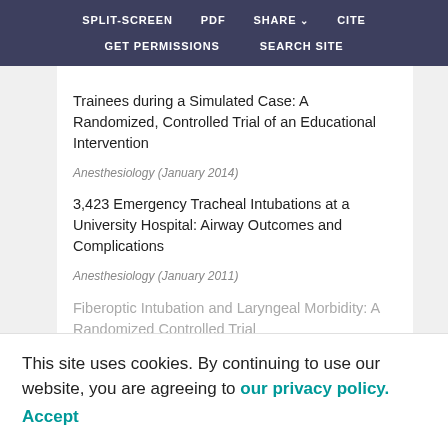SPLIT-SCREEN | PDF | SHARE | CITE | GET PERMISSIONS | SEARCH SITE
Trainees during a Simulated Case: A Randomized, Controlled Trial of an Educational Intervention
Anesthesiology (January 2014)
3,423 Emergency Tracheal Intubations at a University Hospital: Airway Outcomes and Complications
Anesthesiology (January 2011)
Fiberoptic Intubation and Laryngeal Morbidity: A Randomized Controlled Trial
Anesthesiology (January [obscured])
This site uses cookies. By continuing to use our website, you are agreeing to our privacy policy. Accept